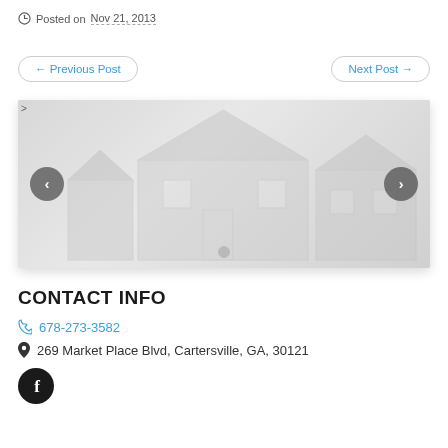Posted on Nov 21, 2013
← Previous Post
Next Post →
[Figure (photo): Slideshow image of a house with left/right navigation arrows and a pagination dot at the bottom]
CONTACT INFO
678-273-3582
269 Market Place Blvd, Cartersville, GA, 30121
[Figure (logo): Facebook icon — dark circular button with white letter f]